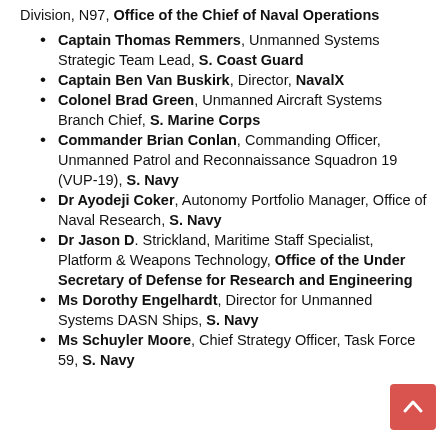Division, N97, Office of the Chief of Naval Operations
Captain Thomas Remmers, Unmanned Systems Strategic Team Lead, S. Coast Guard
Captain Ben Van Buskirk, Director, NavalX
Colonel Brad Green, Unmanned Aircraft Systems Branch Chief, S. Marine Corps
Commander Brian Conlan, Commanding Officer, Unmanned Patrol and Reconnaissance Squadron 19 (VUP-19), S. Navy
Dr Ayodeji Coker, Autonomy Portfolio Manager, Office of Naval Research, S. Navy
Dr Jason D. Strickland, Maritime Staff Specialist, Platform & Weapons Technology, Office of the Under Secretary of Defense for Research and Engineering
Ms Dorothy Engelhardt, Director for Unmanned Systems DASN Ships, S. Navy
Ms Schuyler Moore, Chief Strategy Officer, Task Force 59, S. Navy